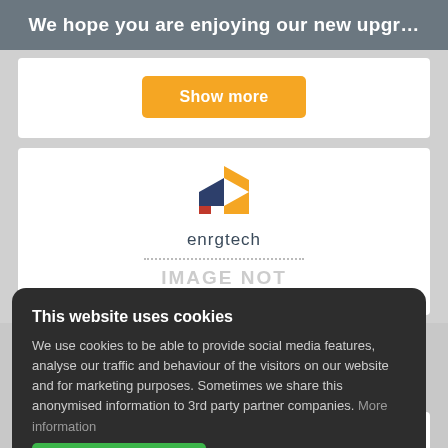We hope you are enjoying our new upgr…
[Figure (logo): Orange 'Show more' button on white card]
[Figure (logo): enrgtech logo with orange and dark blue angular 'e' shape icon and 'enrgtech' text, followed by dotted line and 'IMAGE NOT AVAILABLE' text in grey]
This website uses cookies
We use cookies to be able to provide social media features, analyse our traffic and behaviour of the visitors on our website and for marketing purposes. Sometimes we share this anonymised information to 3rd party partner companies. More information
I accept all Cookies
Change settings